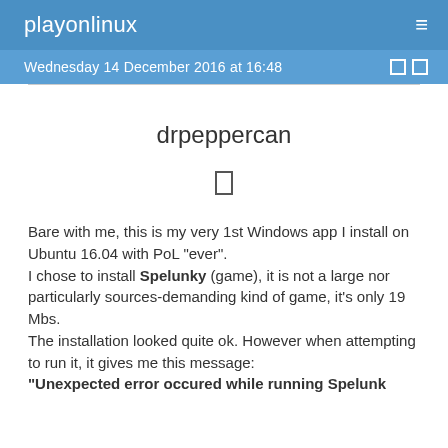playonlinux
Wednesday 14 December 2016 at 16:48
drpeppercan
[Figure (other): User icon placeholder box]
Bare with me, this is my very 1st Windows app I install on Ubuntu 16.04 with PoL "ever".
I chose to install Spelunky (game), it is not a large nor particularly sources-demanding kind of game, it's only 19 Mbs.
The installation looked quite ok. However when attempting to run it, it gives me this message:
"Unexpected error occured while running Spelunk